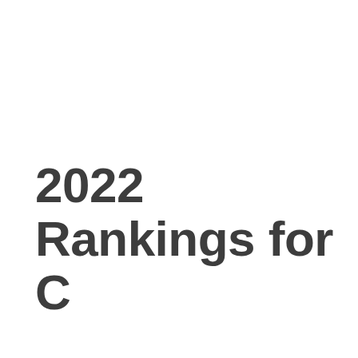2022 Rankings for [continued text cut off]